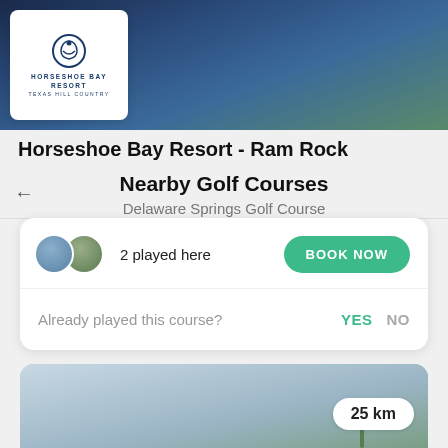[Figure (photo): Top banner image showing a dark blue stormy sky gradient with a white logo card overlay for Horseshoe Bay Resort - Texas Hill Country]
Horseshoe Bay Resort - Ram Rock
Nearby Golf Courses
Delaware Springs Golf Course
2 played here
BOOK NOW
Already played this course?
YES  NO
[Figure (photo): Bottom partial image of a golf course landscape with sky, showing a distance badge reading 25 km]